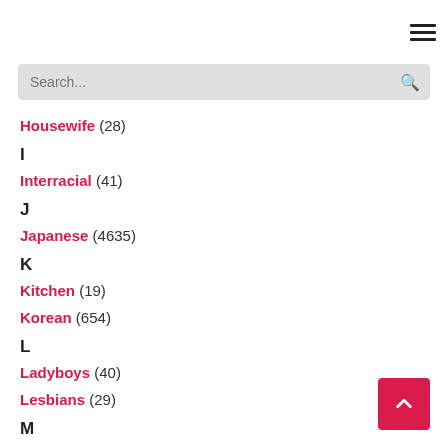Search...
Housewife (28)
I
Interracial (41)
J
Japanese (4635)
K
Kitchen (19)
Korean (654)
L
Ladyboys (40)
Lesbians (29)
M
MILF (237)